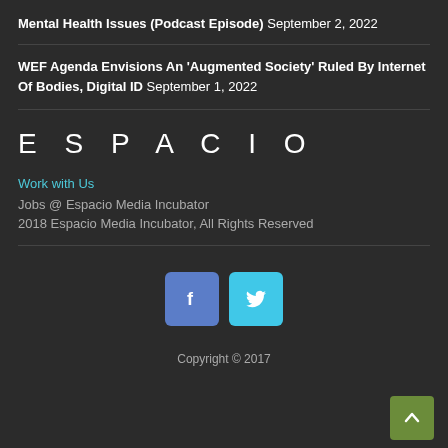Mental Health Issues (Podcast Episode) September 2, 2022
WEF Agenda Envisions An 'Augmented Society' Ruled By Internet Of Bodies, Digital ID September 1, 2022
[Figure (logo): ESPACIO logo in large spaced white uppercase letters]
Work with Us
Jobs @ Espacio Media Incubator
2018 Espacio Media Incubator, All Rights Reserved
[Figure (other): Facebook and Twitter social media icon buttons]
Copyright © 2017